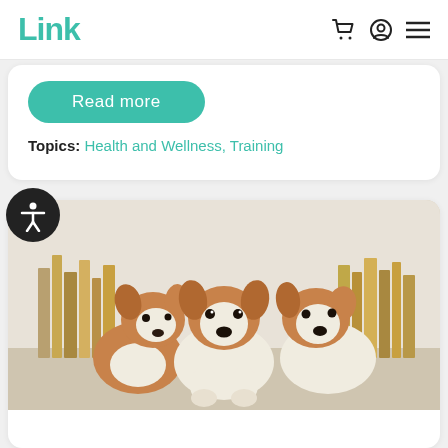Link [navigation: cart, profile, menu icons]
Read more
Topics: Health and Wellness, Training
[Figure (photo): Three Corgi puppies sitting between stacks of books on a white surface]
[Figure (illustration): Accessibility icon - white stick figure person in a circle on black background]